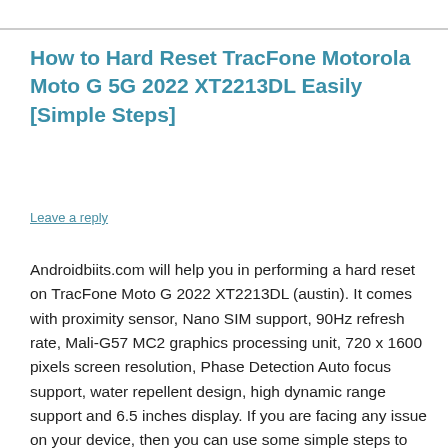How to Hard Reset TracFone Motorola Moto G 5G 2022 XT2213DL Easily [Simple Steps]
Leave a reply
Androidbiits.com will help you in performing a hard reset on TracFone Moto G 2022 XT2213DL (austin). It comes with proximity sensor, Nano SIM support, 90Hz refresh rate, Mali-G57 MC2 graphics processing unit, 720 x 1600 pixels screen resolution, Phase Detection Auto focus support, water repellent design, high dynamic range support and 6.5 inches display. If you are facing any issue on your device, then you can use some simple steps to perform a hard reset. It will allow you to remove pattern lock and screen lock on TracFone Moto G 2022 XT2213DL. Sometimes you might